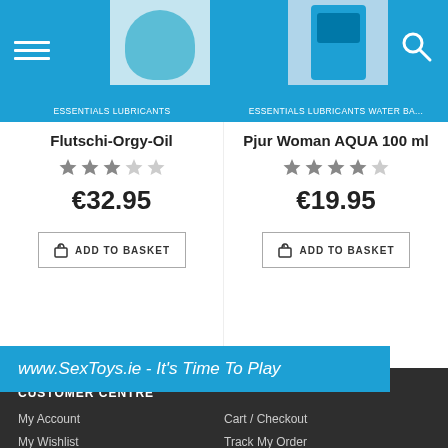[Figure (screenshot): E-commerce product listing page for www.SexToys.ie showing two lubricant products: Flutschi-Orgy-Oil at €32.95 and Pjur Woman AQUA 100ml at €19.95, each with star ratings and Add to Basket buttons, plus a footer with Customer Centre and About Us navigation links.]
ESSENTIALS  LUBRICANTS
ESSENTIALS  LUBRICANTS  WATER BA...
Flutschi-Orgy-Oil
Pjur Woman AQUA 100 ml
€32.95
€19.95
ADD TO BASKET
ADD TO BASKET
www.SexToys.ie - It's Time To Play
CUSTOMER CENTRE
My Account
My Wishlist
Sex Toys Blog
Cart / Checkout
Track My Order
Order history
ABOUT US
Contact Us
Privacy Policy